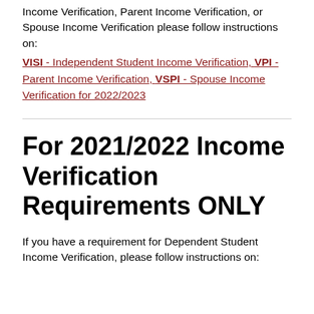Income Verification, Parent Income Verification, or Spouse Income Verification please follow instructions on:
VISI - Independent Student Income Verification, VPI - Parent Income Verification, VSPI - Spouse Income Verification for 2022/2023
For 2021/2022 Income Verification Requirements ONLY
If you have a requirement for Dependent Student Income Verification, please follow instructions on: